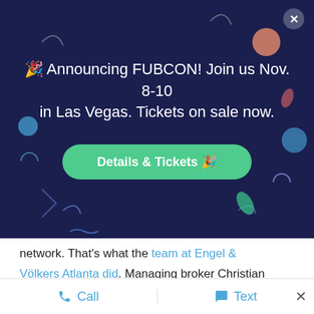[Figure (screenshot): Dark navy promotional banner overlay announcing FUBCON event with green Details & Tickets button and close X button]
network. That's what the team at Engel & Völkers Atlanta did. Managing broker Christian Ross is a major advocate for following up with your sphere.
“Too many times in this business, we start talking about leads
Call   Text   ×